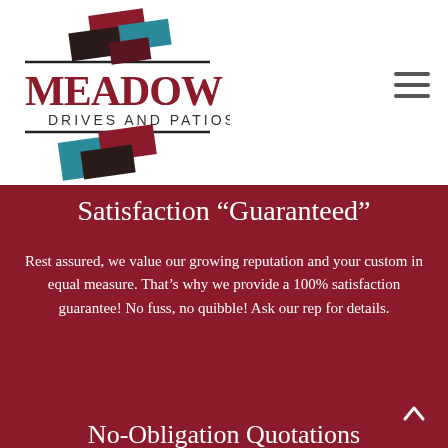[Figure (logo): Meadow Drives and Patios logo with geometric colored blocks and company name]
Satisfaction “Guaranteed”
Rest assured, we value our growing reputation and your custom in equal measure. That’s why we provide a 100% satisfaction guarantee! No fuss, no quibble! Ask our rep for details.
No-Obligation Quotations